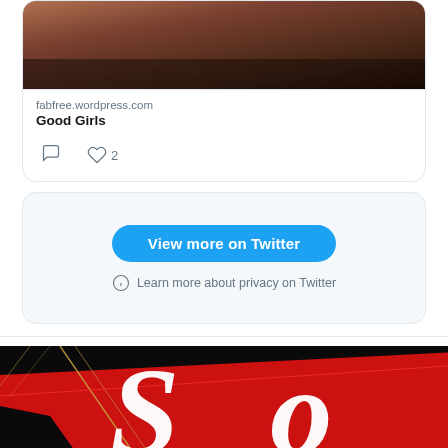[Figure (screenshot): Twitter/X embedded tweet card showing a cropped image of legs, with link to fabfree.wordpress.com titled 'Good Girls', with comment and heart icons (2 likes)]
fabfree.wordpress.com
Good Girls
2
[Figure (screenshot): Twitter embed footer with 'View more on Twitter' blue button and 'Learn more about privacy on Twitter' text with info icon]
View more on Twitter
Learn more about privacy on Twitter
[Figure (photo): Red and black graphic image showing large white serif letters 'S' and 'o' on a red diagonal banner over black background with diagonal gold/red lines]